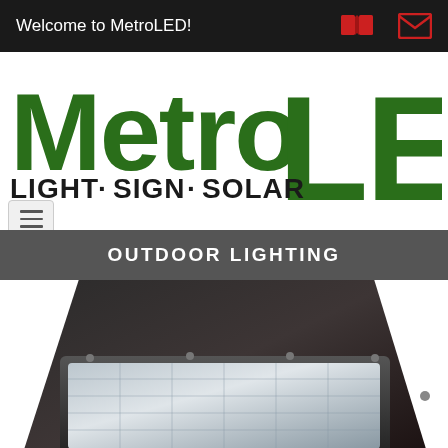Welcome to MetroLED!
[Figure (logo): MetroLED logo with green bold text 'Metro' and large green 'LED', tagline 'LIGHT·SIGN·SOLAR' in black]
[Figure (other): Hamburger menu button with three horizontal lines]
OUTDOOR LIGHTING
[Figure (photo): Close-up photo of a dark bronze/black LED outdoor wall pack light fixture with a rectangular lens panel, shown from a front-angle perspective]